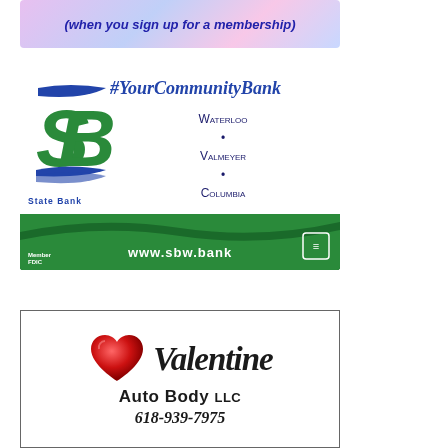[Figure (illustration): Colorful banner ad with pink/blue gradient background and bold blue italic text: '(when you sign up for a membership)']
[Figure (logo): State Bank advertisement with green SB logo, blue tagline '#YourCommunityBank', locations: Waterloo, Valmeyer, Columbia, green bar with www.sbw.bank and Member FDIC logo]
[Figure (logo): Valentine Auto Body LLC advertisement with heart logo, cursive Valentine text, Auto Body LLC text, phone number 618-939-7975]